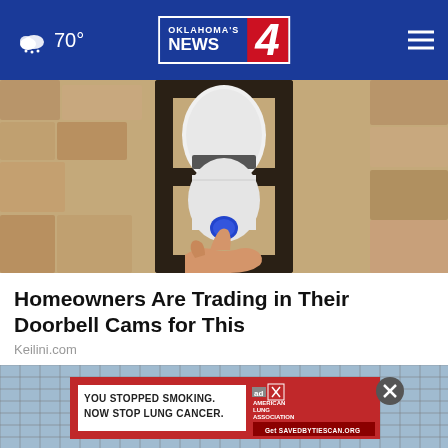70° Oklahoma's News 4
[Figure (photo): Close-up of a security camera mounted inside a dark lantern-style porch light fixture, with a hand pressing a blue button on the device. Stone wall visible in background.]
Homeowners Are Trading in Their Doorbell Cams for This
Keilini.com
[Figure (photo): Background showing a grid/fence structure with sky visible. An advertisement banner overlay reads: YOU STOPPED SMOKING. NOW STOP LUNG CANCER. with American Lung Association branding and Get SavedByItsScan.org call to action. A close/X button appears in the upper right.]